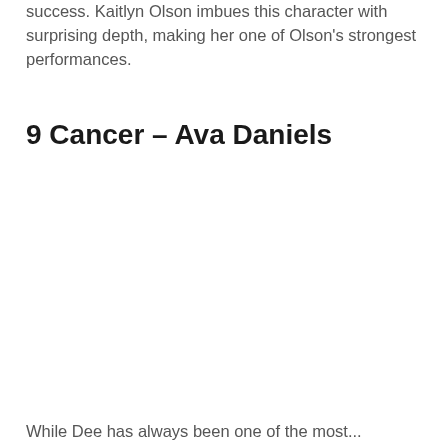success. Kaitlyn Olson imbues this character with surprising depth, making her one of Olson's strongest performances.
9 Cancer – Ava Daniels
While Dee has always been one of the most...